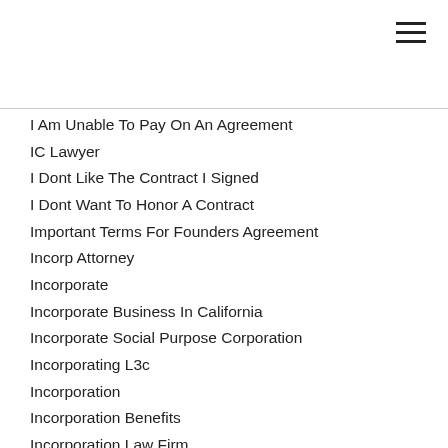I Am Unable To Pay On An Agreement
IC Lawyer
I Dont Like The Contract I Signed
I Dont Want To Honor A Contract
Important Terms For Founders Agreement
Incorp Attorney
Incorporate
Incorporate Business In California
Incorporate Social Purpose Corporation
Incorporating L3c
Incorporation
Incorporation Benefits
Incorporation Law Firm
Incorporation Lawyer
Incorporation Requirements
Incorporation San Jose Law Firm
Incorporation Service